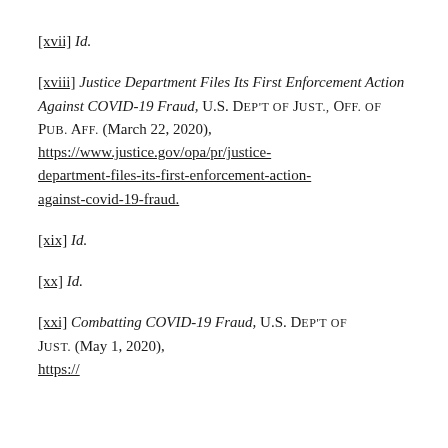[xvii] Id.
[xviii] Justice Department Files Its First Enforcement Action Against COVID-19 Fraud, U.S. DEP'T OF JUST., OFF. OF PUB. AFF. (March 22, 2020), https://www.justice.gov/opa/pr/justice-department-files-its-first-enforcement-action-against-covid-19-fraud.
[xix] Id.
[xx] Id.
[xxi] Combatting COVID-19 Fraud, U.S. DEP'T OF JUST. (May 1, 2020), https://...